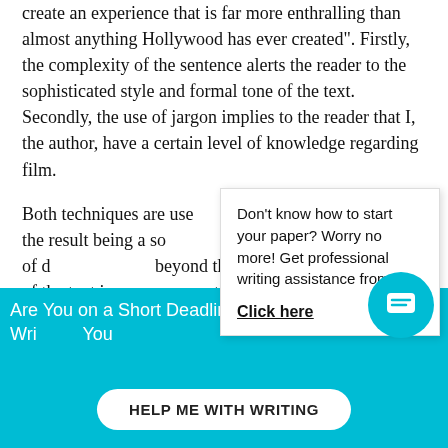create an experience that is far more enthralling than almost anything Hollywood has ever created". Firstly, the complexity of the sentence alerts the reader to the sophisticated style and formal tone of the text. Secondly, the use of jargon implies to the reader that I, the author, have a certain level of knowledge regarding film.
Both techniques are use... text, the result being a sc... illusion of a high level of d... s beyond the use of jargon... the aim of the text is par... f watching the film, it was i... atmosphere was convey...
Don't know how to start your paper? Worry no more! Get professional writing assistance from me.

Click here
Are You on a Short Deadline? Let a Professional Wri... You
HELP ME WITH WRITING